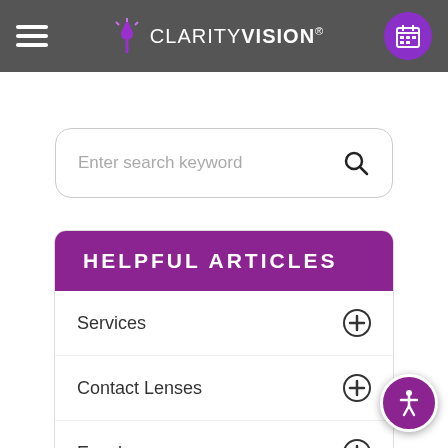CLARITY VISION®
Enter search keyword
HELPFUL ARTICLES
Services
Contact Lenses
Eyeglasses